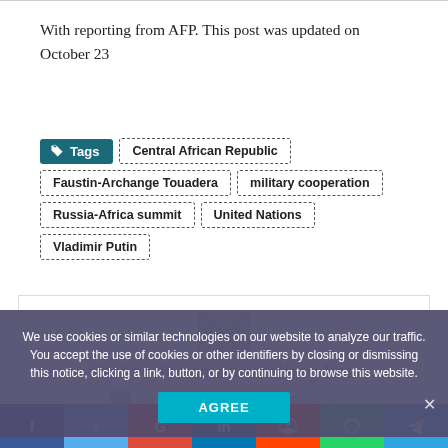With reporting from AFP. This post was updated on October 23
Tags: Central African Republic, Faustin-Archange Touadera, military cooperation, Russia-Africa summit, United Nations, Vladimir Putin
[Figure (other): Subscribe to our mailing list box with envelope icon and email input placeholder]
We use cookies or similar technologies on our website to analyze our traffic. You accept the use of cookies or other identifiers by closing or dismissing this notice, clicking a link, button, or by continuing to browse this website.
AGREE
Social share bar: Facebook, Twitter, Google, LinkedIn, Reddit, WhatsApp, Telegram